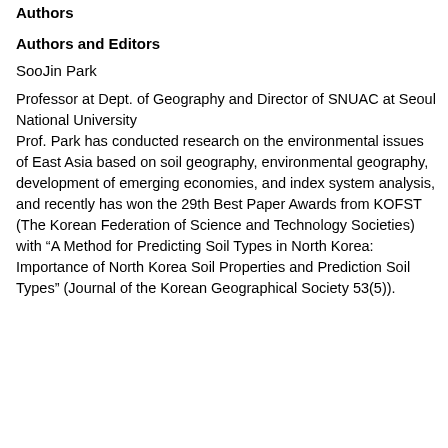Authors
Authors and Editors
SooJin Park
Professor at Dept. of Geography and Director of SNUAC at Seoul National University
Prof. Park has conducted research on the environmental issues of East Asia based on soil geography, environmental geography, development of emerging economies, and index system analysis, and recently has won the 29th Best Paper Awards from KOFST (The Korean Federation of Science and Technology Societies) with “A Method for Predicting Soil Types in North Korea: Importance of North Korea Soil Properties and Prediction Soil Types” (Journal of the Korean Geographical Society 53(5)).